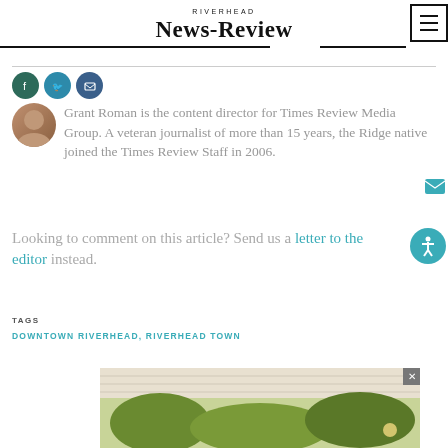RIVERHEAD News-Review
Grant Roman is the content director for Times Review Media Group. A veteran journalist of more than 15 years, the Ridge native joined the Times Review Staff in 2006.
Looking to comment on this article? Send us a letter to the editor instead.
TAGS
DOWNTOWN RIVERHEAD, RIVERHEAD TOWN
[Figure (photo): Advertisement image showing outdoor porch or pergola with green foliage]